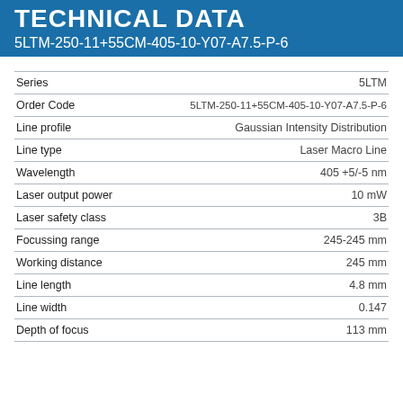TECHNICAL DATA
5LTM-250-11+55CM-405-10-Y07-A7.5-P-6
| Property | Value |
| --- | --- |
| Series | 5LTM |
| Order Code | 5LTM-250-11+55CM-405-10-Y07-A7.5-P-6 |
| Line profile | Gaussian Intensity Distribution |
| Line type | Laser Macro Line |
| Wavelength | 405 +5/-5 nm |
| Laser output power | 10 mW |
| Laser safety class | 3B |
| Focussing range | 245-245 mm |
| Working distance | 245 mm |
| Line length | 4.8 mm |
| Line width | 0.147 |
| Depth of focus | 113 mm |